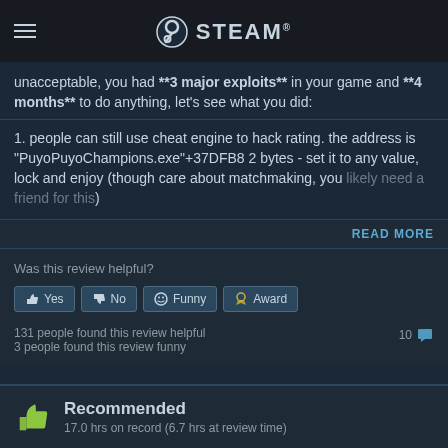STEAM
unacceptable, you had **3 major exploits** in your game and **4 months** to do anything, let's see what you did:
1. people can still use cheat engine to hack rating. the address is "PuyoPuyoChampions.exe"+37DFB8 2 bytes - set it to any value, lock and enjoy (though care about matchmaking, you likely need a friend for this)
READ MORE
Was this review helpful?
Yes | No | Funny | Award
131 people found this review helpful
3 people found this review funny
10 comments
Recommended
17.0 hrs on record (6.7 hrs at review time)